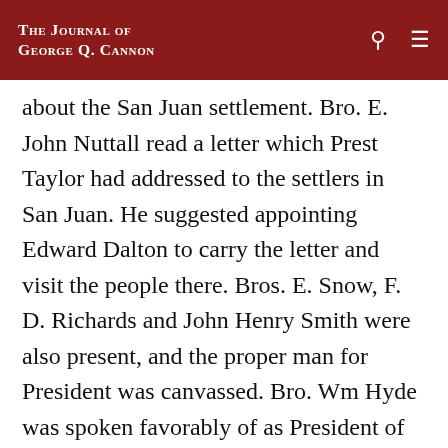The Journal of George Q. Cannon
about the San Juan settlement. Bro. E. John Nuttall read a letter which Prest Taylor had addressed to the settlers in San Juan. He suggested appointing Edward Dalton to carry the letter and visit the people there. Bros. E. Snow, F. D. Richards and John Henry Smith were also present, and the proper man for President was canvassed. Bro. Wm Hyde was spoken favorably of as President of that Stake, but Prest Taylor suggested that I write a telegram to Edward Dalton appointing him to go to San Juan and to act with the presiding officers and Bishops in carrying out the instructions as contained in Prest Taylor's